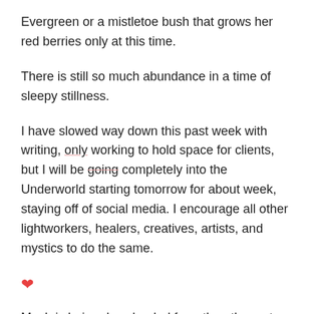Evergreen or a mistletoe bush that grows her red berries only at this time.
There is still so much abundance in a time of sleepy stillness.
I have slowed way down this past week with writing, only working to hold space for clients, but I will be going completely into the Underworld starting tomorrow for about week, staying off of social media. I encourage all other lightworkers, healers, creatives, artists, and mystics to do the same.
❤
Much is being downloaded from the ethers at this time, be available for it. <3